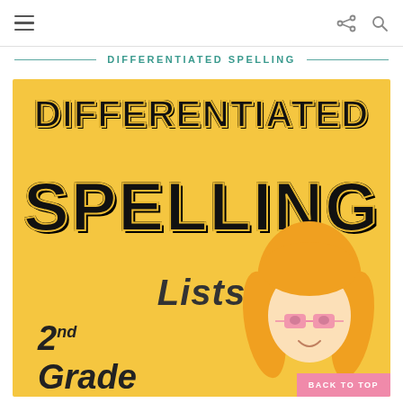Navigation bar with hamburger menu and share/search icons
DIFFERENTIATED SPELLING
[Figure (illustration): Book cover image on yellow/golden background. Large block letters spell 'DIFFERENTIATED SPELLING Lists' with '2nd Grade' in cursive/italic below. A cartoon girl with blonde hair is visible in the bottom-right corner.]
BACK TO TOP